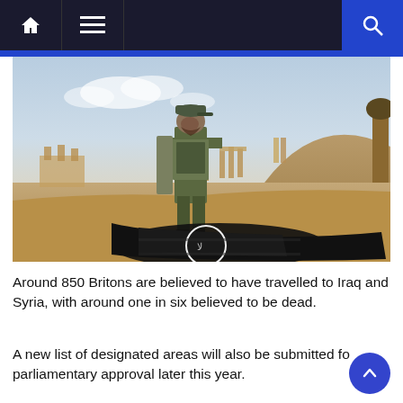Navigation bar with home, menu, and search icons
[Figure (photo): A soldier in camouflage uniform standing over a black ISIS flag lying on the ground in a desert landscape, with ancient ruins visible in the background]
Around 850 Britons are believed to have travelled to Iraq and Syria, with around one in six believed to be dead.
A new list of designated areas will also be submitted for parliamentary approval later this year.